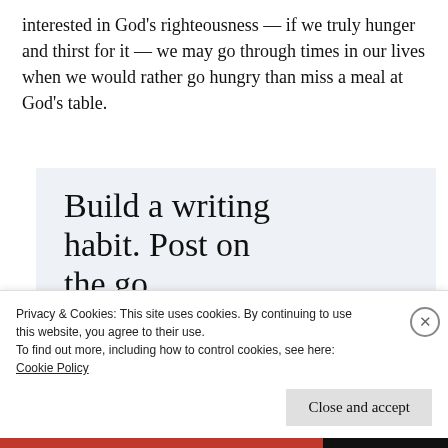interested in God's righteousness — if we truly hunger and thirst for it — we may go through times in our lives when we would rather go hungry than miss a meal at God's table.
[Figure (other): WordPress app advertisement with text 'Build a writing habit. Post on the go.' and a 'GET THE APP' call to action with WordPress logo]
Privacy & Cookies: This site uses cookies. By continuing to use this website, you agree to their use.
To find out more, including how to control cookies, see here:
Cookie Policy
Close and accept